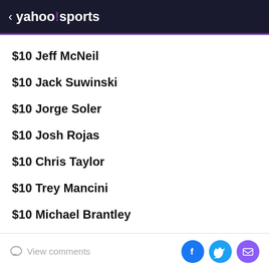< yahoo!sports
$10 Jeff McNeil
$10 Jack Suwinski
$10 Jorge Soler
$10 Josh Rojas
$10 Chris Taylor
$10 Trey Mancini
$10 Michael Brantley
$10 Andrew Benintendi
View comments